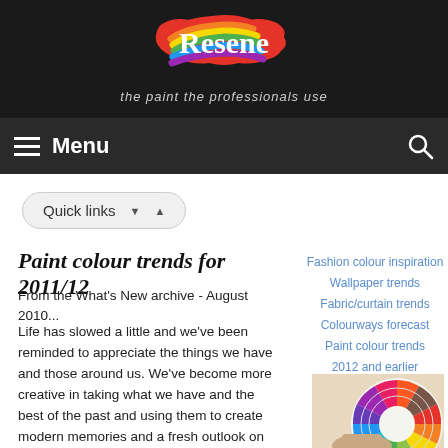[Figure (logo): Resene logo with colorful paint splash background and tagline 'the paint the professionals use']
Menu
Quick links
Paint colour trends for 2011/12
From the What's New archive - August 2010...
Life has slowed a little and we've been reminded to appreciate the things we have and those around us. We've become more creative in taking what we have and the best of the past and using them to create modern memories and a fresh outlook on the future. Colour schemes are becoming
Fashion colour inspiration
Wallpaper trends
Fabric/curtain trends
Colourways forecast
Paint colour trends 2012 and earlier
[Figure (photo): Hand holding a Resene color fan deck showing a rainbow wheel of paint color swatches]